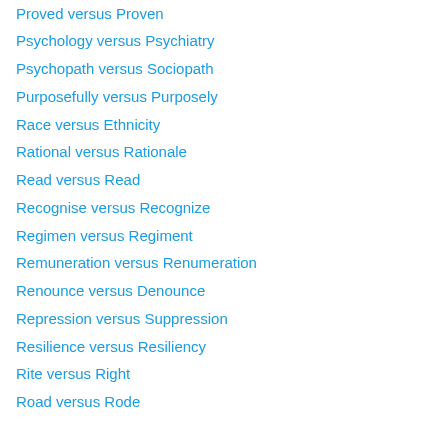Proved versus Proven
Psychology versus Psychiatry
Psychopath versus Sociopath
Purposefully versus Purposely
Race versus Ethnicity
Rational versus Rationale
Read versus Read
Recognise versus Recognize
Regimen versus Regiment
Remuneration versus Renumeration
Renounce versus Denounce
Repression versus Suppression
Resilience versus Resiliency
Rite versus Right
Road versus Rode